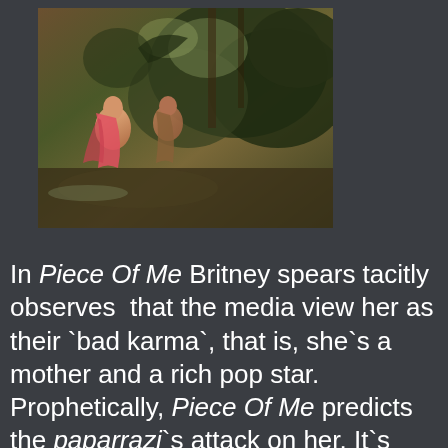[Figure (illustration): A classical painting depicting two figures in a landscape with trees and dark foliage. One figure appears to be wearing pink/red drapery.]
In Piece Of Me Britney spears tacitly observes that the media view her as their `bad karma`, that is, she`s a mother and a rich pop star. Prophetically, Piece Of Me predicts the paparrazi`s attack on her. It`s newspaper law, which is worse than the Sharia law of the Moslem`s, which teaches us from what`s